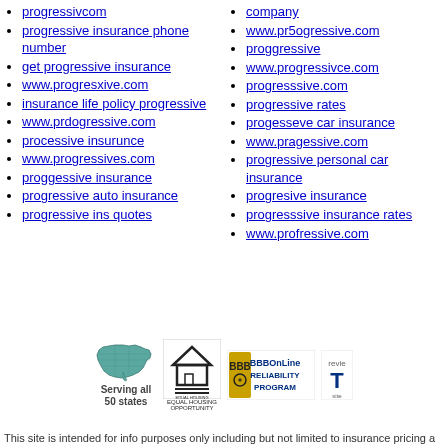progressivcom
progressive insurance phone number
get progressive insurance
www.progresxive.com
insurance life policy progressive
www.prdogressive.com
processive insurunce
www.progressives.com
proggessive insurance
progressive auto insurance
progressive ins quotes
company
www.pr5ogressive.com
proggressive
www.progressivce.com
progresssive.com
progressive rates
progesseve car insurance
www.pragessive.com
progressive personal car insurance
progresive insurance
progresssive insurance rates
www.profressive.com
[Figure (infographic): Serving all 50 states badge with US map outline, Equal Housing Opportunity logo, BBBOnLine Reliability Program logo, and TrustE logo]
This site is intended for info purposes only including but not limited to insurance pricing a...